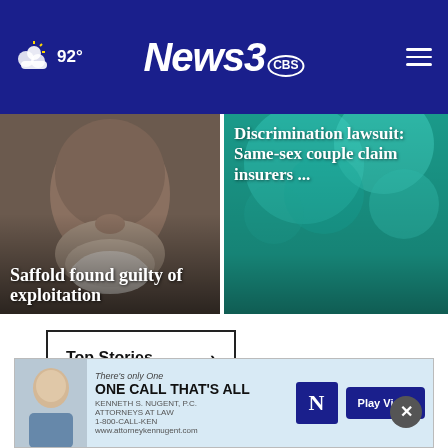News 3 | 92°
[Figure (photo): News story card: close-up of a man's face with beard, with headline 'Saffold found guilty of exploitation']
[Figure (photo): News story card: underwater/teal background with headline 'Discrimination lawsuit: Same-sex couple claim insurers ...']
Top Stories ›
[Figure (photo): Advertisement banner: 'There's only One ONE CALL THAT'S ALL' with Kenneth S. Nugent attorney photo and Play Video button]
[Figure (photo): Partial image of woman holding credit card on teal background, with close (×) button]